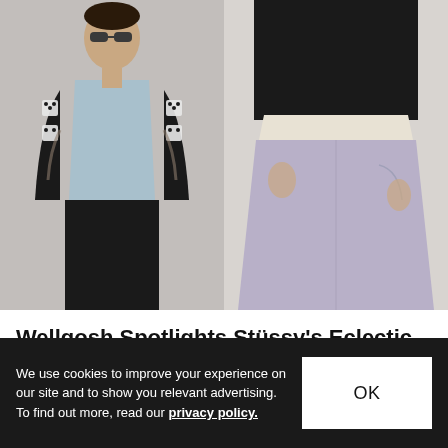[Figure (photo): Two fashion photos side by side: left shows a man wearing sunglasses and a black dice-patterned short-sleeve shirt open over a light blue t-shirt with black pants and tattoos; right shows a person from chest down wearing a black sweater/hoodie layered over a cream top with wide-leg lavender/purple trousers.]
Wellgosh Spotlights Stüssy's Eclectic SS22 Collection
Including dice-patterned shirts and viscose sweaters.
Fashion · May 5, 2022  ▲ 2.2K  ● 1
We use cookies to improve your experience on our site and to show you relevant advertising. To find out more, read our privacy policy.